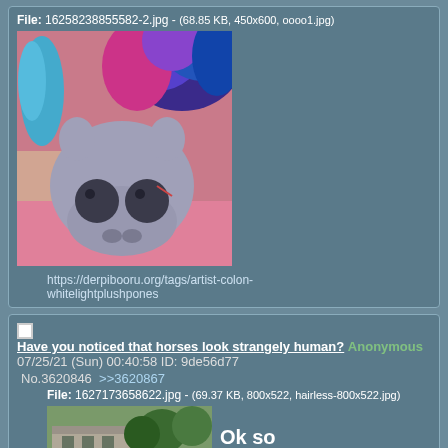File: 16258238855582-2.jpg - (68.85 KB, 450x600, oooo1.jpg)
[Figure (photo): A plush toy of a horse/pony face with grey fabric, large dark eyes, colorful blue/pink/purple fur mane, lying on pink and beige fabric]
https://derpibooru.org/tags/artist-colon-whitelightplushpones
Have you noticed that horses look strangely human?
Anonymous 07/25/21 (Sun) 00:40:58 ID: 9de56d77
No.3620846  >>3620867
File: 1627173658622.jpg - (69.37 KB, 800x522, hairless-800x522.jpg)
[Figure (photo): A stone building with trees in background and a white animal/bird]
Ok so